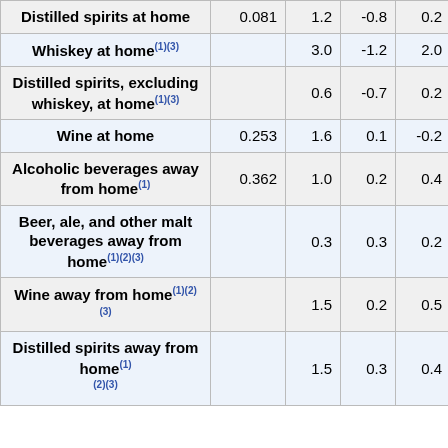| Item | Relative importance | Unadj. 1-mo change | Unadj. 3-mo change | Seas. adj. 1-mo change |
| --- | --- | --- | --- | --- |
| Distilled spirits at home | 0.081 | 1.2 | -0.8 | 0.2 |
| Whiskey at home(1)(3) |  | 3.0 | -1.2 | 2.0 |
| Distilled spirits, excluding whiskey, at home(1)(3) |  | 0.6 | -0.7 | 0.2 |
| Wine at home | 0.253 | 1.6 | 0.1 | -0.2 |
| Alcoholic beverages away from home(1) | 0.362 | 1.0 | 0.2 | 0.4 |
| Beer, ale, and other malt beverages away from home(1)(2)(3) |  | 0.3 | 0.3 | 0.2 |
| Wine away from home(1)(2)(3) |  | 1.5 | 0.2 | 0.5 |
| Distilled spirits away from home(1)(2)(3) |  | 1.5 | 0.3 | 0.4 |